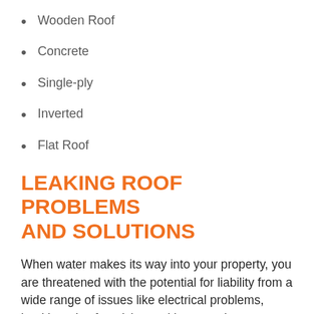Wooden Roof
Concrete
Single-ply
Inverted
Flat Roof
LEAKING ROOF PROBLEMS AND SOLUTIONS
When water makes its way into your property, you are threatened with the potential for liability from a wide range of issues like electrical problems, health and safety risks, and increased property damage. Our